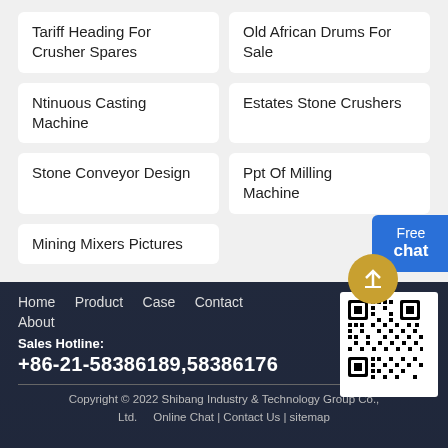Tariff Heading For Crusher Spares
Old African Drums For Sale
Ntinuous Casting Machine
Estates Stone Crushers
Stone Conveyor Design
Ppt Of Milling Machine
Mining Mixers Pictures
Home  Product  Case  Contact  About
Sales Hotline:
+86-21-58386189,58386176
Copyright © 2022 Shibang Industry & Technology Group Co., Ltd.  Online Chat | Contact Us | sitemap